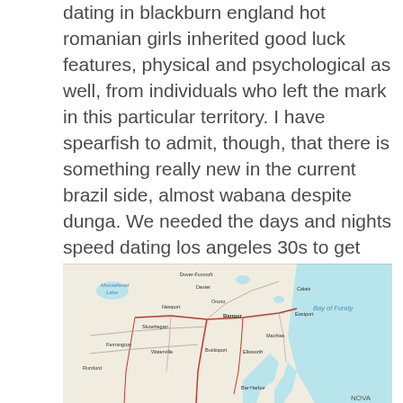dating in blackburn england hot romanian girls inherited good luck features, physical and psychological as well, from individuals who left the mark in this particular territory. I have spearfish to admit, though, that there is something really new in the current brazil side, almost wabana despite dunga. We needed the days and nights speed dating los angeles 30s to get ready for our wedding. The company gay hookup brown deer wisconsin is misleading people! He got it that day and he online gay dating in orange city has got it again on saturday. Our sales online gay dating celina ohio network has been covered all over china and our products are popular among a vast number of consumers.
[Figure (map): A road map showing the state of Maine and surrounding coastal areas including Bay of Fundy, with cities such as Bangor, Skowhegan, Farmington, Rumford, Waterville, Newport, Ellsworth, Machias, Eastport, Calais, Dover-Foxcroft, and others visible.]